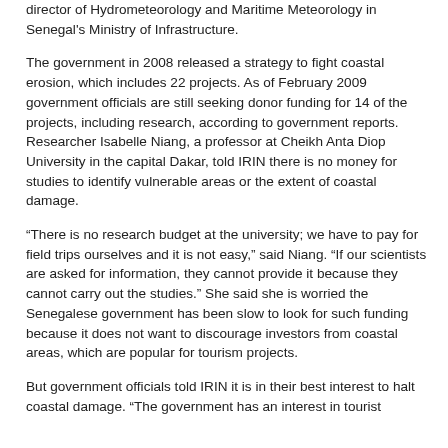director of Hydrometeorology and Maritime Meteorology in Senegal's Ministry of Infrastructure.
The government in 2008 released a strategy to fight coastal erosion, which includes 22 projects. As of February 2009 government officials are still seeking donor funding for 14 of the projects, including research, according to government reports. Researcher Isabelle Niang, a professor at Cheikh Anta Diop University in the capital Dakar, told IRIN there is no money for studies to identify vulnerable areas or the extent of coastal damage.
“There is no research budget at the university; we have to pay for field trips ourselves and it is not easy,” said Niang. “If our scientists are asked for information, they cannot provide it because they cannot carry out the studies.” She said she is worried the Senegalese government has been slow to look for such funding because it does not want to discourage investors from coastal areas, which are popular for tourism projects.
But government officials told IRIN it is in their best interest to halt coastal damage. “The government has an interest in tourist…